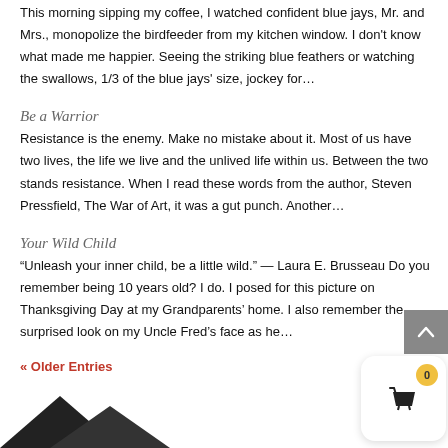This morning sipping my coffee, I watched confident blue jays, Mr. and Mrs., monopolize the birdfeeder from my kitchen window. I don't know what made me happier. Seeing the striking blue feathers or watching the swallows, 1/3 of the blue jays' size, jockey for...
Be a Warrior
Resistance is the enemy. Make no mistake about it. Most of us have two lives, the life we live and the unlived life within us. Between the two stands resistance. When I read these words from the author, Steven Pressfield, The War of Art, it was a gut punch. Another...
Your Wild Child
“Unleash your inner child, be a little wild.” — Laura E. Brusseau Do you remember being 10 years old? I do. I posed for this picture on Thanksgiving Day at my Grandparents’ home. I also remember the surprised look on my Uncle Fred’s face as he...
« Older Entries
[Figure (illustration): Dark mountain/triangle shape at bottom left]